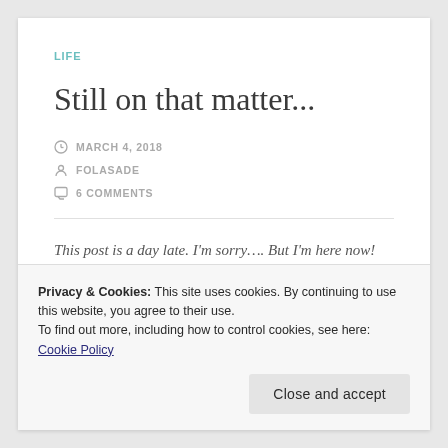LIFE
Still on that matter...
MARCH 4, 2018
FOLASADE
6 COMMENTS
This post is a day late. I'm sorry…. But I'm here now!
Privacy & Cookies: This site uses cookies. By continuing to use this website, you agree to their use.
To find out more, including how to control cookies, see here: Cookie Policy